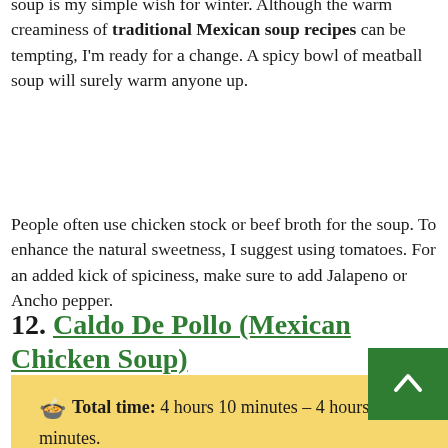soup is my simple wish for winter. Although the warm creaminess of traditional Mexican soup recipes can be tempting, I'm ready for a change. A spicy bowl of meatball soup will surely warm anyone up.
People often use chicken stock or beef broth for the soup. To enhance the natural sweetness, I suggest using tomatoes. For an added kick of spiciness, make sure to add Jalapeno or Ancho pepper.
12. Caldo De Pollo (Mexican Chicken Soup)
🍲 Total time: 4 hours 10 minutes – 4 hours 15 minutes.